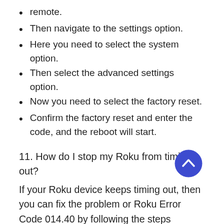remote.
Then navigate to the settings option.
Here you need to select the system option.
Then select the advanced settings option.
Now you need to select the factory reset.
Confirm the factory reset and enter the code, and the reboot will start.
11. How do I stop my Roku from timing out?
If your Roku device keeps timing out, then you can fix the problem or Roku Error Code 014.40 by following the steps mentioned here.